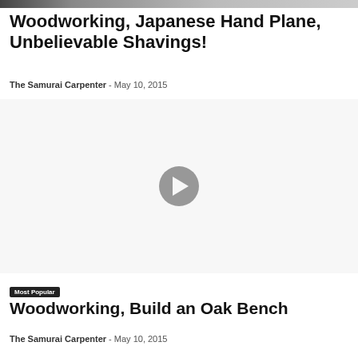[Figure (photo): Partial thumbnail image of woodworking/Japanese hand plane video at top of page]
Woodworking, Japanese Hand Plane, Unbelievable Shavings!
The Samurai Carpenter  -  May 10, 2015
[Figure (screenshot): Video player area with play button centered on light gray background]
Most Popular
Woodworking, Build an Oak Bench
The Samurai Carpenter  -  May 10, 2015